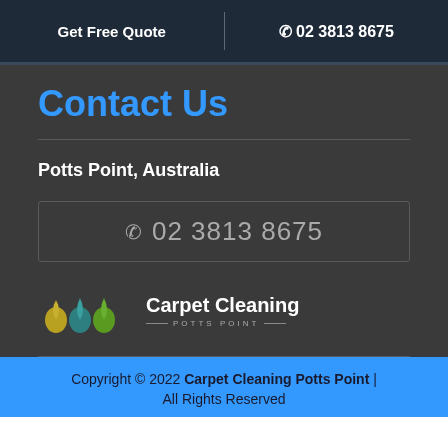Get Free Quote | 02 3813 8675
Contact Us
Potts Point, Australia
02 3813 8675
[Figure (logo): Carpet Cleaning Potts Point logo with three colored water drops (yellow, teal, green) and text 'Carpet Cleaning POTTS POINT']
Copyright © 2022 Carpet Cleaning Potts Point | All Rights Reserved